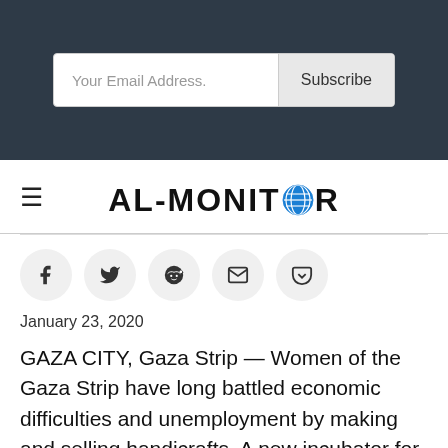[Figure (screenshot): Email subscription bar with input field 'Your Email Address.' and 'Subscribe' button on dark background]
[Figure (logo): AL-MONITOR logo with globe icon replacing the O in MONITOR, hamburger menu icon on left]
[Figure (infographic): Row of five social sharing icons: Facebook, Twitter, Reddit, Email, Pocket]
January 23, 2020
GAZA CITY, Gaza Strip — Women of the Gaza Strip have long battled economic difficulties and unemployment by making and selling handicrafts. A new incubator for women entrepreneurs in the Rafah governorate aims to make these projects sustainable and to lead for the entrepreneurs...